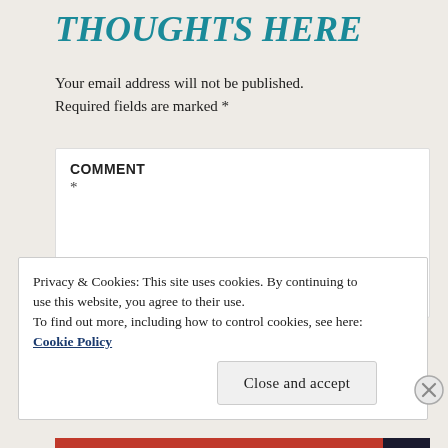THOUGHTS HERE
Your email address will not be published. Required fields are marked *
COMMENT *
Privacy & Cookies: This site uses cookies. By continuing to use this website, you agree to their use. To find out more, including how to control cookies, see here: Cookie Policy
Close and accept